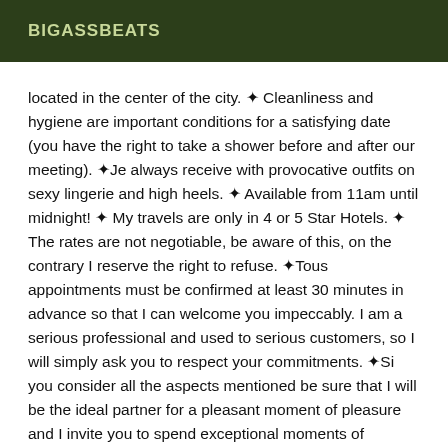BIGASSBEATS
located in the center of the city. ❧ Cleanliness and hygiene are important conditions for a satisfying date (you have the right to take a shower before and after our meeting). ❧Je always receive with provocative outfits on sexy lingerie and high heels. ❧ Available from 11am until midnight! ❧ My travels are only in 4 or 5 Star Hotels. ❧ The rates are not negotiable, be aware of this, on the contrary I reserve the right to refuse. ❧Tous appointments must be confirmed at least 30 minutes in advance so that I can welcome you impeccably. I am a serious professional and used to serious customers, so I will simply ask you to respect your commitments. ❧Si you consider all the aspects mentioned be sure that I will be the ideal partner for a pleasant moment of pleasure and I invite you to spend exceptional moments of exchange, in the utmost discretion and mutual respect . ❧Je remains fully available to polite and respectful people, always the exception, if you have the excellence it will